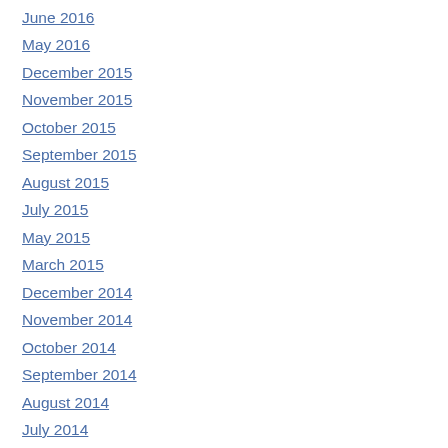June 2016
May 2016
December 2015
November 2015
October 2015
September 2015
August 2015
July 2015
May 2015
March 2015
December 2014
November 2014
October 2014
September 2014
August 2014
July 2014
June 2014
May 2014
April 2014